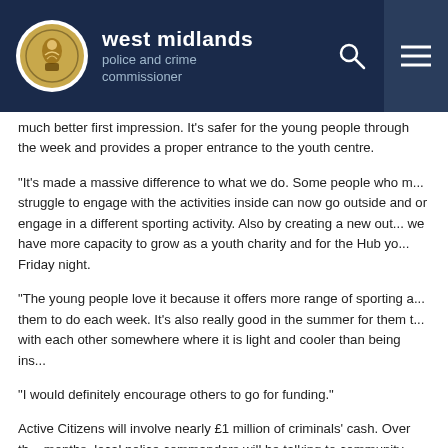west midlands police and crime commissioner
much better first impression. It's safer for the young people through the week and provides a proper entrance to the youth centre.
“It’s made a massive difference to what we do. Some people who m... struggle to engage with the activities inside can now go outside and or engage in a different sporting activity. Also by creating a new out... we have more capacity to grow as a youth charity and for the Hub yo... Friday night.
“The young people love it because it offers more range of sporting a... them to do each week. It’s also really good in the summer for them t... with each other somewhere where it is light and cooler than being ins...
“I would definitely encourage others to go for funding.”
Active Citizens will involve nearly £1 million of criminals’ cash. Over th... months, local police commanders will be talking to community membe... them in the decision-making process. There will also be information...